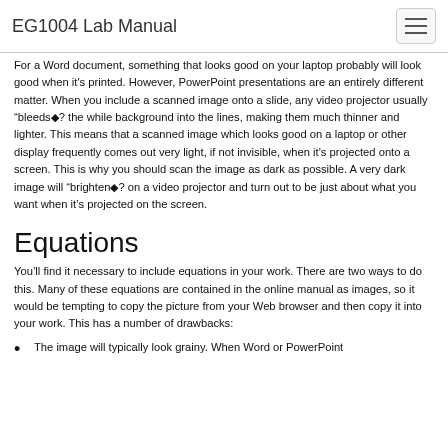EG1004 Lab Manual
For a Word document, something that looks good on your laptop probably will look good when it's printed. However, PowerPoint presentations are an entirely different matter. When you include a scanned image onto a slide, any video projector usually “bleeds�? the while background into the lines, making them much thinner and lighter. This means that a scanned image which looks good on a laptop or other display frequently comes out very light, if not invisible, when it's projected onto a screen. This is why you should scan the image as dark as possible. A very dark image will “brighten�? on a video projector and turn out to be just about what you want when it’s projected on the screen.
Equations
You’ll find it necessary to include equations in your work. There are two ways to do this. Many of these equations are contained in the online manual as images, so it would be tempting to copy the picture from your Web browser and then copy it into your work. This has a number of drawbacks:
The image will typically look grainy. When Word or PowerPoint